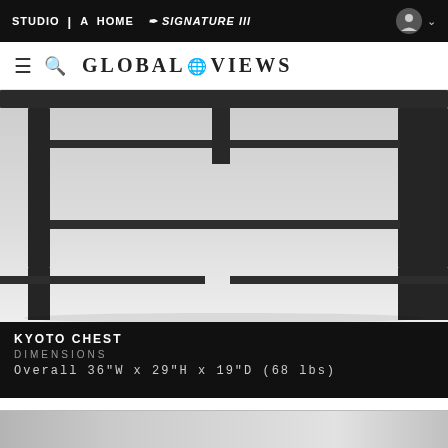STUDIO|A  HOME  SIGNATURE III
[Figure (logo): Global Views logo with hamburger menu and search icon]
[Figure (photo): Close-up of dark metal furniture legs of the Kyoto Chest on a light grey background]
KYOTO CHEST
DIMENSIONS
Overall 36"W x 29"H x 19"D (68 lbs)
[Figure (photo): Partial view of a second product photo with grey gradient background]